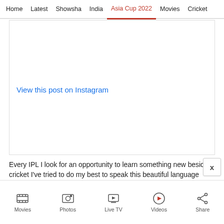Home | Latest | Showsha | India | Asia Cup 2022 | Movies | Cricket
[Figure (screenshot): Instagram embed area with 'View this post on Instagram' link]
Every IPL I look for an opportunity to learn something new besides cricket I've tried to do my best to speak this beautiful language correctly. If there are any mistakes please forgive me ♥ Loads of love always And yes … can you guess this language and what I'm saying ? Also who could have taught me this ? I'm super thrilled with my new linguistic skills
Movies | Photos | Live TV | Videos | Share